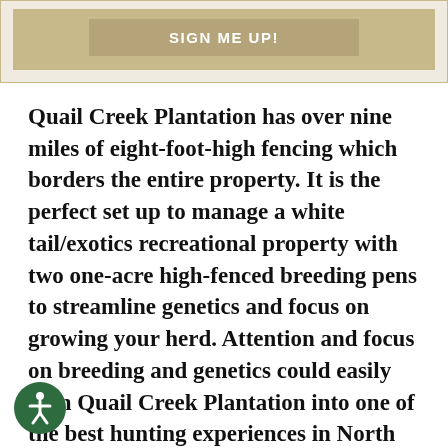[Figure (other): A tan/khaki colored sign-up banner with a 'SIGN ME UP!' button in white bold text on a slightly darker tan button background.]
Quail Creek Plantation has over nine miles of eight-foot-high fencing which borders the entire property. It is the perfect set up to manage a white tail/exotics recreational property with two one-acre high-fenced breeding pens to streamline genetics and focus on growing your herd. Attention and focus on breeding and genetics could easily turn Quail Creek Plantation into one of the best hunting experiences in North Florida. The habitat with its planted pines, palmettos and hardwood creek bottoms is perfect setting for turkey and deer to roam additionally Quail Creek
[Figure (illustration): Accessibility icon — a green circle with a white wheelchair-accessible person symbol inside it, located in the bottom-left corner.]